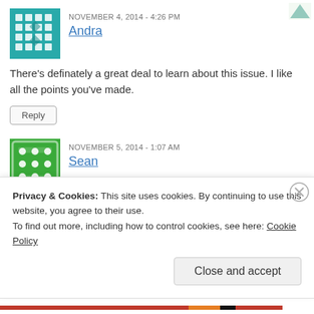NOVEMBER 4, 2014 - 4:26 PM
Andra
There's definately a great deal to learn about this issue. I like all the points you've made.
Reply
NOVEMBER 5, 2014 - 1:07 AM
Sean
It is a game, traditional board games since the release of Episode 2, 700, 000 miles!
And these days, a lot more fun and are educational
and fun game knight games that world. In this game may not seem so
Privacy & Cookies: This site uses cookies. By continuing to use this website, you agree to their use.
To find out more, including how to control cookies, see here: Cookie Policy
Close and accept